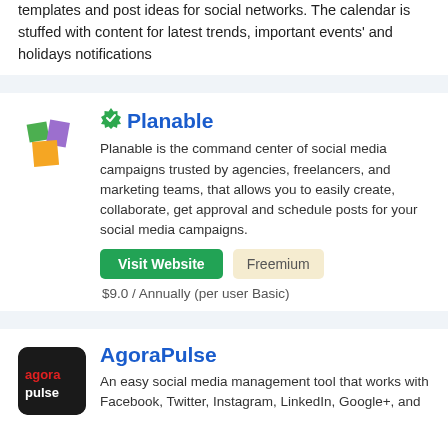templates and post ideas for social networks. The calendar is stuffed with content for latest trends, important events' and holidays notifications
[Figure (logo): Planable logo - colorful geometric bird-like shape in green, purple, and yellow]
Planable
Planable is the command center of social media campaigns trusted by agencies, freelancers, and marketing teams, that allows you to easily create, collaborate, get approval and schedule posts for your social media campaigns.
Visit Website   Freemium
$9.0 / Annually (per user Basic)
[Figure (logo): AgoraPulse logo - black square with 'agora pulse' text in red and white]
AgoraPulse
An easy social media management tool that works with Facebook, Twitter, Instagram, LinkedIn, Google+, and